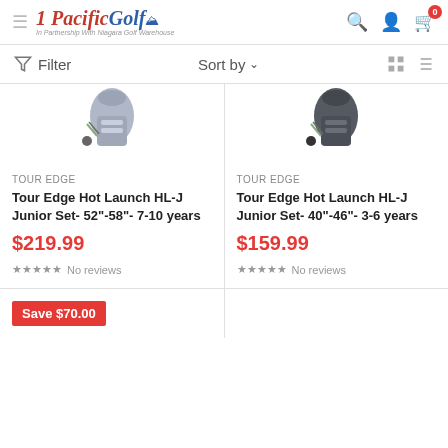Pacific Golf Warehouse — In Partnership With Niagara Golf Warehouse
Filter | Sort by | Grid/List view toggle
[Figure (photo): Tour Edge HL-J Junior golf bag set, silver/grey, partially visible]
TOUR EDGE
Tour Edge Hot Launch HL-J Junior Set- 52"-58"- 7-10 years
$219.99
No reviews
[Figure (photo): Tour Edge HL-J Junior golf bag set, dark colour, partially visible]
TOUR EDGE
Tour Edge Hot Launch HL-J Junior Set- 40"-46"- 3-6 years
$159.99
No reviews
Save $70.00